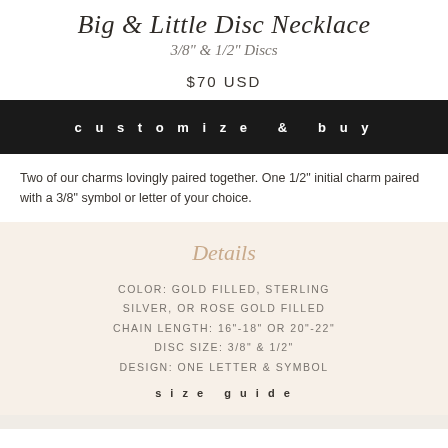Big & Little Disc Necklace
3/8" & 1/2" Discs
$70 USD
customize & buy
Two of our charms lovingly paired together. One 1/2" initial charm paired with a 3/8" symbol or letter of your choice.
Details
COLOR: GOLD FILLED, STERLING SILVER, OR ROSE GOLD FILLED
CHAIN LENGTH: 16"-18" OR 20"-22"
DISC SIZE: 3/8" & 1/2"
DESIGN: ONE LETTER & SYMBOL
size guide